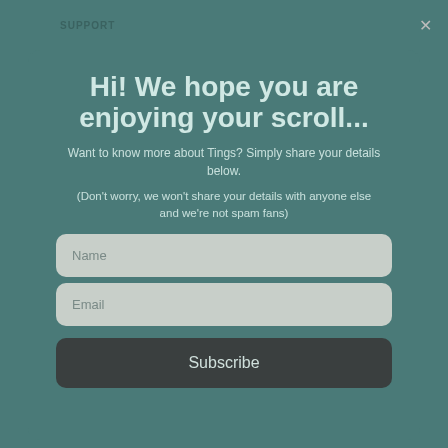SUPPORT
Contact
Shipping & Returns
Terms of Service
Refund Policy
Stockists
Wholesale
QUICK LINKS
Hi! We hope you are enjoying your scroll...
Want to know more about Tings? Simply share your details below.
(Don't worry, we won't share your details with anyone else and we're not spam fans)
Name
Email
Subscribe